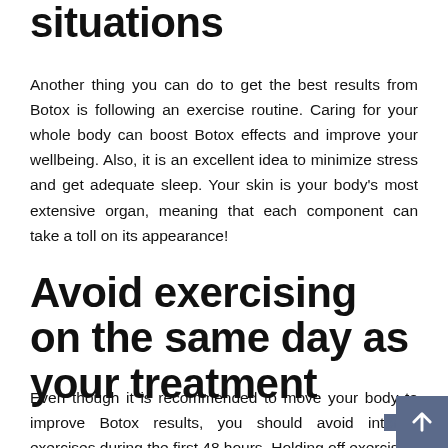situations
Another thing you can do to get the best results from Botox is following an exercise routine. Caring for your whole body can boost Botox effects and improve your wellbeing. Also, it is an excellent idea to minimize stress and get adequate sleep. Your skin is your body’s most extensive organ, meaning that each component can take a toll on its appearance!
Avoid exercising on the same day as your treatment
Even though it is recommended to move your body to improve Botox results, you should avoid intense exercises during the first 48 hours. Holding off exercise